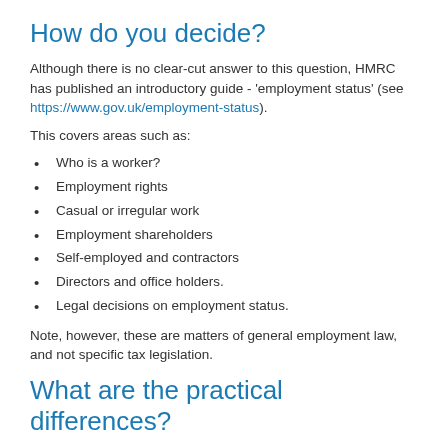How do you decide?
Although there is no clear-cut answer to this question, HMRC has published an introductory guide - 'employment status' (see https://www.gov.uk/employment-status).
This covers areas such as:
Who is a worker?
Employment rights
Casual or irregular work
Employment shareholders
Self-employed and contractors
Directors and office holders.
Legal decisions on employment status.
Note, however, these are matters of general employment law, and not specific tax legislation.
What are the practical differences?